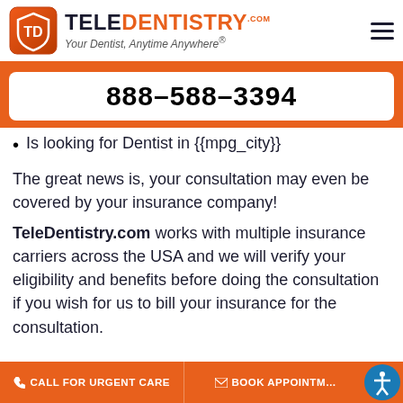TELEDENTISTRY.com — Your Dentist, Anytime Anywhere®
888-588-3394
Is looking for Dentist in {{mpg_city}}
The great news is, your consultation may even be covered by your insurance company!
TeleDentistry.com works with multiple insurance carriers across the USA and we will verify your eligibility and benefits before doing the consultation if you wish for us to bill your insurance for the consultation.
CALL FOR URGENT CARE   BOOK APPOINTMENT